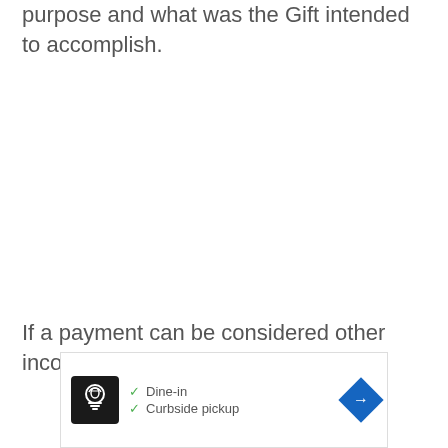purpose and what was the Gift intended to accomplish.
If a payment can be considered other income
[Figure (other): Advertisement box showing a restaurant/food service business with logo, checkmarks for 'Dine-in' and 'Curbside pickup', and a blue diamond navigation arrow icon. Below are ad control icons (play and close).]